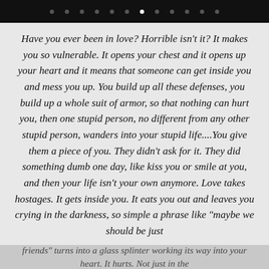Have you ever been in love? Horrible isn't it? It makes you so vulnerable. It opens your chest and it opens up your heart and it means that someone can get inside you and mess you up. You build up all these defenses, you build up a whole suit of armor, so that nothing can hurt you, then one stupid person, no different from any other stupid person, wanders into your stupid life....You give them a piece of you. They didn't ask for it. They did something dumb one day, like kiss you or smile at you, and then your life isn't your own anymore. Love takes hostages. It gets inside you. It eats you out and leaves you crying in the darkness, so simple a phrase like "maybe we should be just friends" turns into a glass splinter working its way into your heart. It hurts. Not just in the